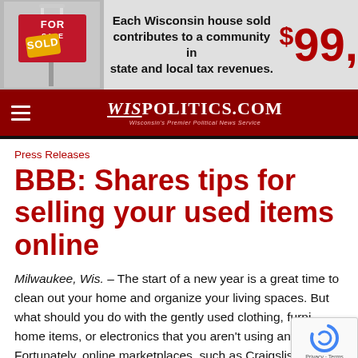[Figure (infographic): Banner advertisement showing a For Sale/Sold real estate sign on the left, bold text 'Each Wisconsin house sold contributes to a community in state and local tax revenues.' in the center, and a large red price '$99,' on the right.]
WISPOLITICS.COM — Wisconsin's Premier Political News Service
Press Releases
BBB: Shares tips for selling your used items online
Milwaukee, Wis. – The start of a new year is a great time to clean out your home and organize your living spaces. But what should you do with the gently used clothing, furniture, home items, or electronics that you aren't using anymore? Fortunately, online marketplaces, such as Craigslist,